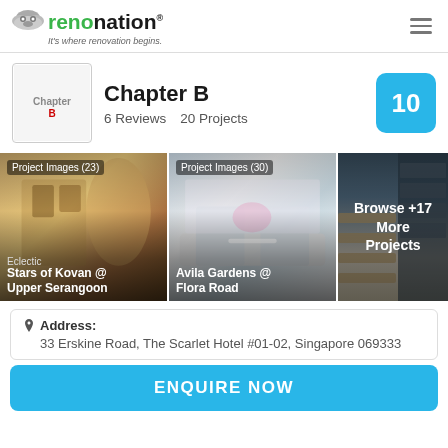[Figure (logo): Renonation logo with cloud icon and tagline 'It's where renovation begins.']
Chapter B
6 Reviews  20 Projects
[Figure (photo): Project Images (23) - Eclectic interior photo for Stars of Kovan @ Upper Serangoon]
[Figure (photo): Project Images (30) - Bathroom interior photo for Avila Gardens @ Flora Road]
[Figure (photo): Browse +17 More Projects - staircase/shelving interior photo]
Address:
33 Erskine Road, The Scarlet Hotel #01-02, Singapore 069333
ENQUIRE NOW